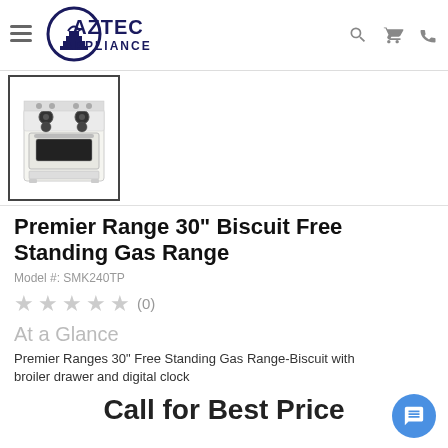Aztec Appliance
[Figure (photo): White free-standing gas range oven product thumbnail image]
Premier Range 30" Biscuit Free Standing Gas Range
Model #: SMK240TP
★★★★★ (0)
At a Glance
Premier Ranges 30" Free Standing Gas Range-Biscuit with broiler drawer and digital clock
Call for Best Price